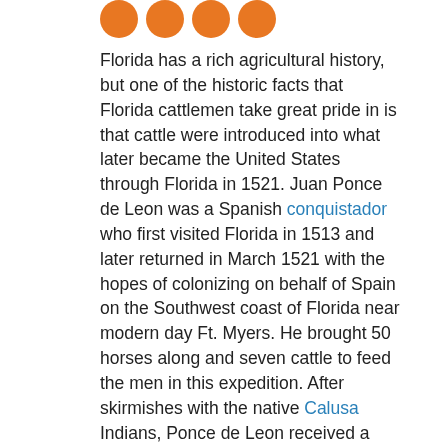[orange circles decorative header]
Florida has a rich agricultural history, but one of the historic facts that Florida cattlemen take great pride in is that cattle were introduced into what later became the United States through Florida in 1521. Juan Ponce de Leon was a Spanish conquistador who first visited Florida in 1513 and later returned in March 1521 with the hopes of colonizing on behalf of Spain on the Southwest coast of Florida near modern day Ft. Myers. He brought 50 horses along and seven cattle to feed the men in this expedition. After skirmishes with the native Calusa Indians, Ponce de Leon received a serious injury, so he and his party hastily abandoned the colony and livestock to return to Cuba in early July.